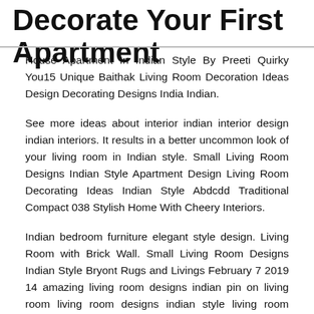Decorate Your First Apartment
House Apartment In Indian Style By Preeti Quirky You15 Unique Baithak Living Room Decoration Ideas Design Decorating Designs India Indian.
See more ideas about interior indian interior design indian interiors. It results in a better uncommon look of your living room in Indian style. Small Living Room Designs Indian Style Apartment Design Living Room Decorating Ideas Indian Style Abdcdd Traditional Compact 038 Stylish Home With Cheery Interiors.
Indian bedroom furniture elegant style design. Living Room with Brick Wall. Small Living Room Designs Indian Style Bryont Rugs and Livings February 7 2019 14 amazing living room designs indian pin on living room living room designs indian style living room designs indian style.
Small living room designs Indian style means an intellectual way to arrange living room decorating